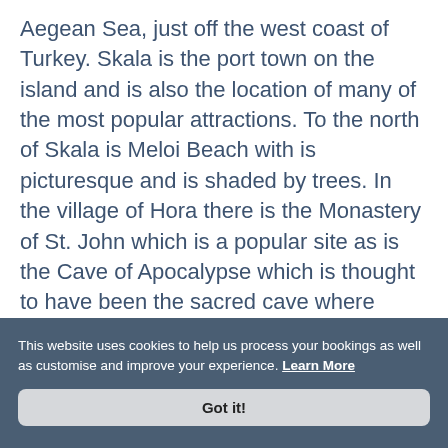Aegean Sea, just off the west coast of Turkey. Skala is the port town on the island and is also the location of many of the most popular attractions. To the north of Skala is Meloi Beach with is picturesque and is shaded by trees. In the village of Hora there is the Monastery of St. John which is a popular site as is the Cave of Apocalypse which is thought to have been the sacred cave where Saint Ioannis heard the voice of God and wrote the Apocalypse. In the cave visitors are able to see the cross that was engraved by Saint Ioannis along with three small cracks in the rock through which the voice of
This website uses cookies to help us process your bookings as well as customise and improve your experience. Learn More
Got it!